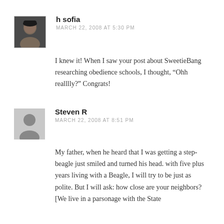[Figure (photo): Avatar photo of h sofia, a woman with short dark hair]
h sofia
MARCH 22, 2008 AT 5:30 PM
I knew it! When I saw your post about SweetieBang researching obedience schools, I thought, “Ohh realllly?” Congrats!
[Figure (illustration): Default avatar silhouette for Steven R]
Steven R
MARCH 22, 2008 AT 8:51 PM
My father, when he heard that I was getting a step-beagle just smiled and turned his head. with five plus years living with a Beagle, I will try to be just as polite. But I will ask: how close are your neighbors? [We live in a parsonage with the State